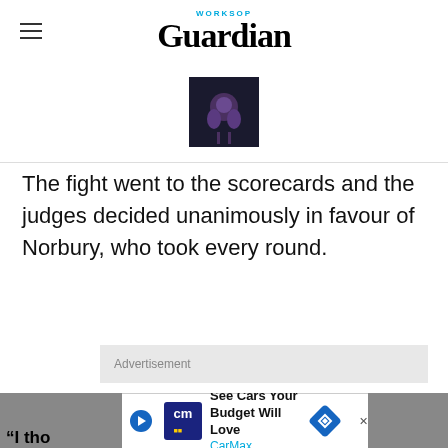Worksop Guardian
[Figure (photo): Small dark photo of a fighter, purple/dark tones]
The fight went to the scorecards and the judges decided unanimously in favour of Norbury, who took every round.
Advertisement
A delighted world champion said after the fight: “I knew she would take a lot of punishment, as she is a tough fighter.”
“I tho
[Figure (other): CarMax advertisement banner at bottom: See Cars Your Budget Will Love, CarMax]